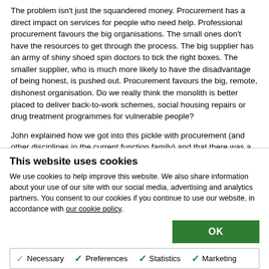The problem isn't just the squandered money. Procurement has a direct impact on services for people who need help. Professional procurement favours the big organisations. The small ones don't have the resources to get through the process. The big supplier has an army of shiny shoed spin doctors to tick the right boxes. The smaller supplier, who is much more likely to have the disadvantage of being honest, is pushed out. Procurement favours the big, remote, dishonest organisation. Do we really think the monolith is better placed to deliver back-to-work schemes, social housing repairs or drug treatment programmes for vulnerable people?
John explained how we got into this pickle with procurement (and other disciplines in the current function family) and that there was a...
This website uses cookies
We use cookies to help improve this website. We also share information about your use of our site with our social media, advertising and analytics partners. You consent to our cookies if you continue to use our website, in accordance with our cookie policy.
OK
Necessary  Preferences  Statistics  Marketing